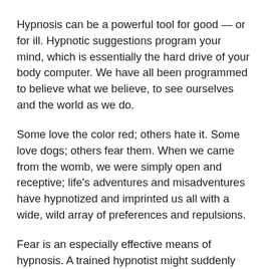Hypnosis can be a powerful tool for good — or for ill. Hypnotic suggestions program your mind, which is essentially the hard drive of your body computer. We have all been programmed to believe what we believe, to see ourselves and the world as we do.
Some love the color red; others hate it. Some love dogs; others fear them. When we came from the womb, we were simply open and receptive; life's adventures and misadventures have hypnotized and imprinted us all with a wide, wild array of preferences and repulsions.
Fear is an especially effective means of hypnosis. A trained hypnotist might suddenly push you off balance or clap loudly next to your head... for he has learned that fear puts the subject into a trance of shock. Once in trance, suggestions can be made that will go deep into the mind.